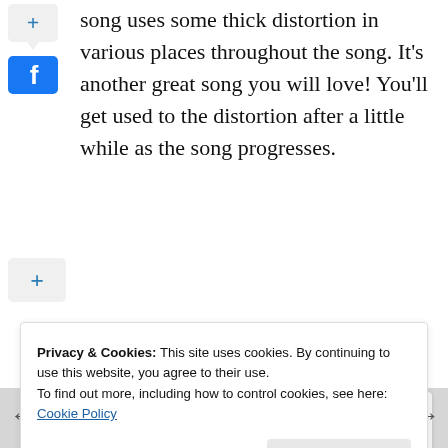song uses some thick distortion in various places throughout the song. It's another great song you will love! You'll get used to the distortion after a little while as the song progresses.
[Figure (screenshot): Navigation arrows (left and right) with page cards visible on either side]
Privacy & Cookies: This site uses cookies. By continuing to use this website, you agree to their use.
To find out more, including how to control cookies, see here: Cookie Policy
Close and accept